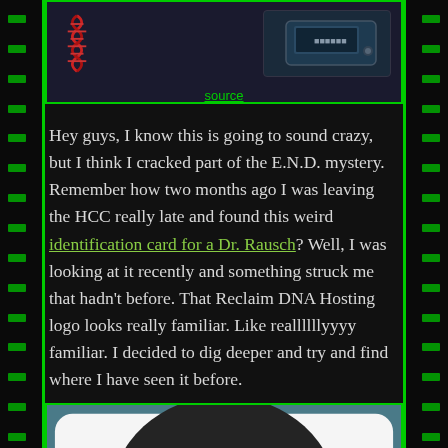[Figure (photo): Dark banner image with red DNA helix icon on left and a blue electronic device/reader on the right, against dark background]
source
Hey guys, I know this is going to sound crazy, but I think I cracked part of the E.N.D. mystery. Remember how two months ago I was leaving the HCC really late and found this weird identification card for a Dr. Rausch? Well, I was looking at it recently and something struck me that hadn't before. That Reclaim DNA Hosting logo looks really familiar. Like reallllllyyyy familiar. I decided to dig deeper and try and find where I have seen it before.
[Figure (logo): Teal/blue background with a dark circular logo containing stylized text that appears to read letters in a handwritten style, resembling a DNA hosting company logo]